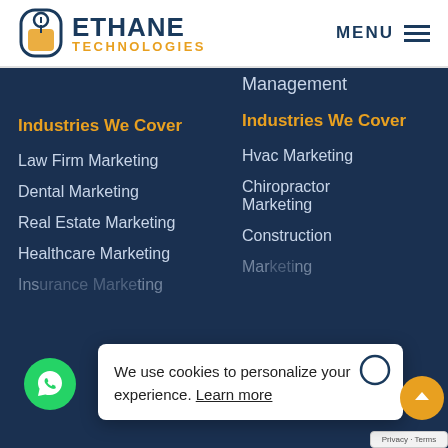[Figure (logo): Ethane Technologies logo with mouse icon and company name]
MENU
Management
Industries We Cover
Industries We Cover
Law Firm Marketing
Hvac Marketing
Dental Marketing
Chiropractor Marketing
Real Estate Marketing
Construction
Healthcare Marketing
Insurance Marketing
We use cookies to personalize your experience. Learn more